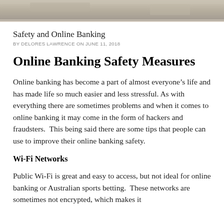[Figure (photo): Cropped top portion of a photo, appears to show a surface with some objects, rendered in grey/tan tones]
Safety and Online Banking
BY DELORES LAWRENCE ON JUNE 11, 2018
Online Banking Safety Measures
Online banking has become a part of almost everyone’s life and has made life so much easier and less stressful. As with everything there are sometimes problems and when it comes to online banking it may come in the form of hackers and fraudsters.  This being said there are some tips that people can use to improve their online banking safety.
Wi-Fi Networks
Public Wi-Fi is great and easy to access, but not ideal for online banking or Australian sports betting.  These networks are sometimes not encrypted, which makes it